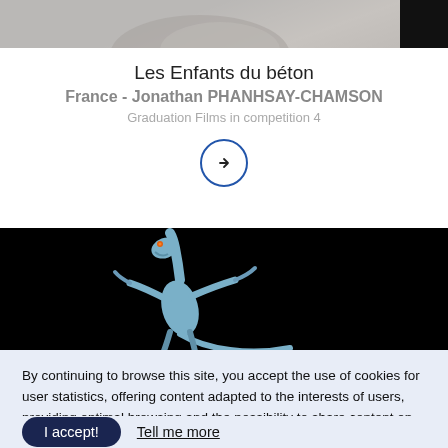[Figure (photo): Partial top strip showing stone/statue texture with dark area on the right edge]
Les Enfants du béton
France - Jonathan PHANHSAY-CHAMSON
Graduation Films in competition 4
[Figure (other): Circular arrow button (right arrow inside a circle with blue border)]
[Figure (photo): Black background with a blue dinosaur/creature figure with orange eyes, arms outstretched]
Love Me, Fear Me
By continuing to browse this site, you accept the use of cookies for user statistics, offering content adapted to the interests of users, providing optimal browsing and the possibility to share content on social networks.
I accept!
Tell me more